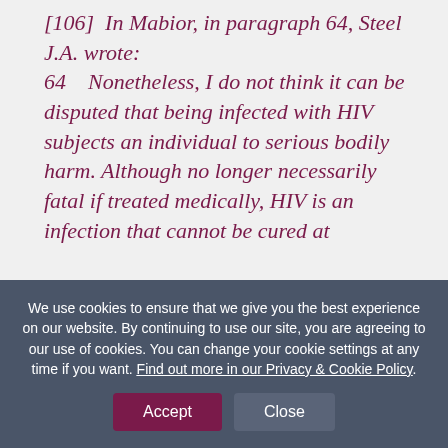[106]  In Mabior, in paragraph 64, Steel J.A. wrote:
64    Nonetheless, I do not think it can be disputed that being infected with HIV subjects an individual to serious bodily harm. Although no longer necessarily fatal if treated medically, HIV is an infection that cannot be cured at
We use cookies to ensure that we give you the best experience on our website. By continuing to use our site, you are agreeing to our use of cookies. You can change your cookie settings at any time if you want. Find out more in our Privacy & Cookie Policy.